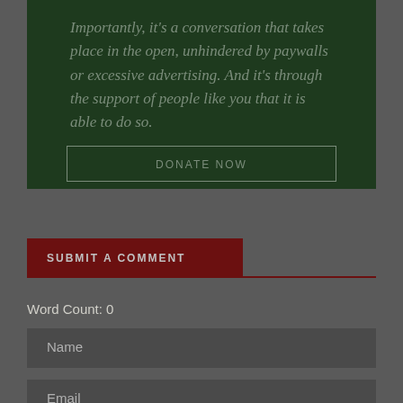Importantly, it's a conversation that takes place in the open, unhindered by paywalls or excessive advertising. And it's through the support of people like you that it is able to do so.
DONATE NOW
SUBMIT A COMMENT
Word Count: 0
Name
Email